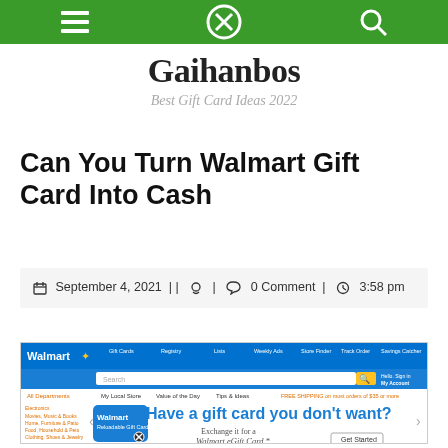Navigation bar with menu, close, and search icons
Gaihanbos
Best Gift Card Ideas 2022
Can You Turn Walmart Gift Card Into Cash
September 4, 2021 | | 0 Comment | 3:58 pm
[Figure (screenshot): Walmart website screenshot showing a gift card exchange offer: 'Have a gift card you don't want? Exchange it for a Walmart eGift Card. Get Started']